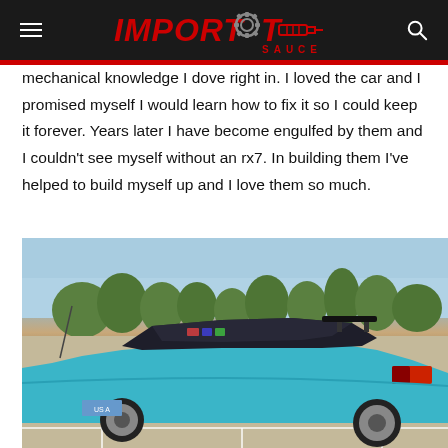IMPORT SAUCE
mechanical knowledge I dove right in. I loved the car and I promised myself I would learn how to fix it so I could keep it forever. Years later I have become engulfed by them and I couldn't see myself without an rx7. In building them I've helped to build myself up and I love them so much.
[Figure (photo): Rear three-quarter view of a bright teal/blue Mazda RX-7 FC parked in a parking lot with trees in the background. The car is lowered on aftermarket wheels.]